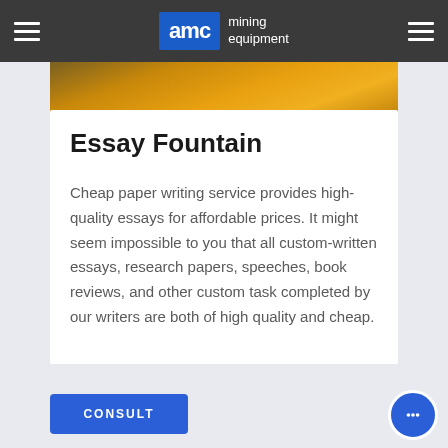AMC mining equipment
[Figure (photo): Photo of orange/yellow mining equipment machinery, partially visible as a strip behind the white card]
Essay Fountain
Cheap paper writing service provides high-quality essays for affordable prices. It might seem impossible to you that all custom-written essays, research papers, speeches, book reviews, and other custom task completed by our writers are both of high quality and cheap.